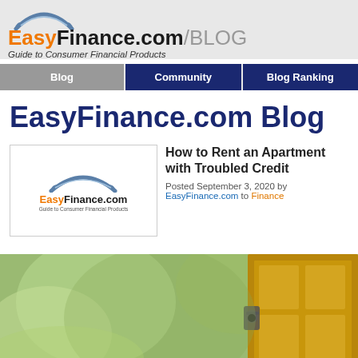EasyFinance.com/BLOG — Guide to Consumer Financial Products
Blog | Community | Blog Ranking
EasyFinance.com Blog
[Figure (logo): EasyFinance.com logo with umbrella icon and tagline 'Guide to Consumer Financial Products']
How to Rent an Apartment with Troubled Credit
Posted September 3, 2020 by EasyFinance.com to Finance
[Figure (photo): Photo of an apartment door lock/entryway with blurred green background]